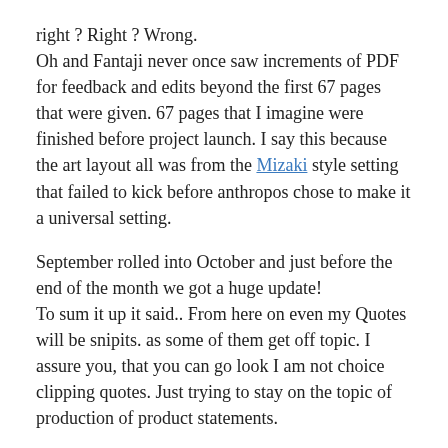right ? Right ? Wrong. Oh and Fantaji never once saw increments of PDF for feedback and edits beyond the first 67 pages that were given. 67 pages that I imagine were finished before project launch. I say this because the art layout all was from the Mizaki style setting that failed to kick before anthropos chose to make it a universal setting.
September rolled into October and just before the end of the month we got a huge update! To sum it up it said.. From here on even my Quotes will be snipits. as some of them get off topic. I assure you, that you can go look I am not choice clipping quotes. Just trying to stay on the topic of production of product statements.
Being homeless for two months this summer and then being forced to graduate a year early (new University of Texas policies) have thrown some wrenches in the gears.